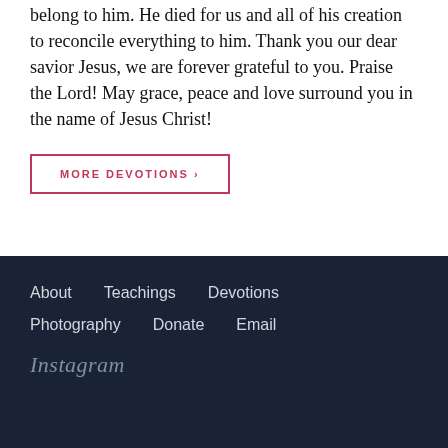belong to him. He died for us and all of his creation to reconcile everything to him. Thank you our dear savior Jesus, we are forever grateful to you. Praise the Lord! May grace, peace and love surround you in the name of Jesus Christ!
MORE DEVOTIONS ›
About   Teachings   Devotions   Photography   Donate   Email   Instagram